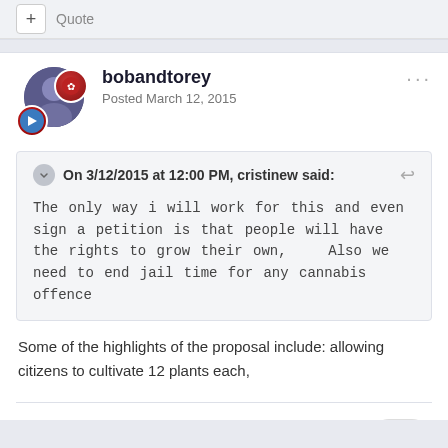+ Quote
bobandtorey
Posted March 12, 2015
On 3/12/2015 at 12:00 PM, cristinew said:
The only way i will work for this and even sign a petition is that people will have the rights to grow their own,    Also we need to end jail time for any cannabis offence
Some of the highlights of the proposal include: allowing citizens to cultivate 12 plants each,
+ Quote  1